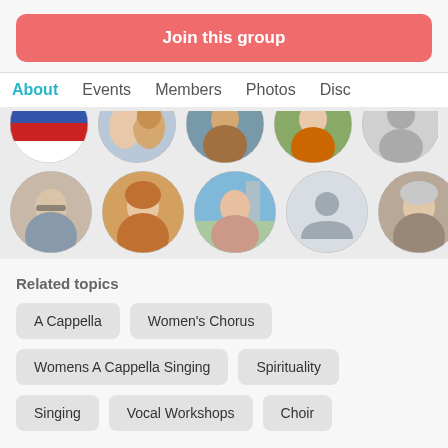Join this group
About  Events  Members  Photos  Disc
[Figure (photo): Two rows of circular member profile photos. Top row shows 5 partially cropped circular avatars. Bottom row shows 5 full circular avatars: elderly woman with glasses, older woman smiling, man outdoors with city in background, grey placeholder avatar icon, older woman with grey hair.]
Related topics
A Cappella
Women's Chorus
Womens A Cappella Singing
Spirituality
Singing
Vocal Workshops
Choir